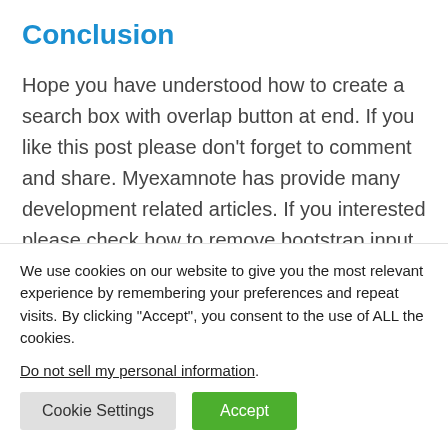Conclusion
Hope you have understood how to create a search box with overlap button at end. If you like this post please don’t forget to comment and share. Myexamnote has provide many development related articles. If you interested please check how to remove bootstrap input field border. We will meet again with another
We use cookies on our website to give you the most relevant experience by remembering your preferences and repeat visits. By clicking “Accept”, you consent to the use of ALL the cookies. Do not sell my personal information.